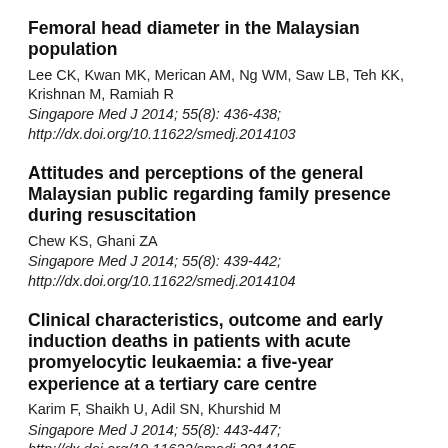Femoral head diameter in the Malaysian population
Lee CK, Kwan MK, Merican AM, Ng WM, Saw LB, Teh KK, Krishnan M, Ramiah R
Singapore Med J 2014; 55(8): 436-438; http://dx.doi.org/10.11622/smedj.2014103
Attitudes and perceptions of the general Malaysian public regarding family presence during resuscitation
Chew KS, Ghani ZA
Singapore Med J 2014; 55(8): 439-442; http://dx.doi.org/10.11622/smedj.2014104
Clinical characteristics, outcome and early induction deaths in patients with acute promyelocytic leukaemia: a five-year experience at a tertiary care centre
Karim F, Shaikh U, Adil SN, Khurshid M
Singapore Med J 2014; 55(8): 443-447; http://dx.doi.org/10.11622/smedj.2014105